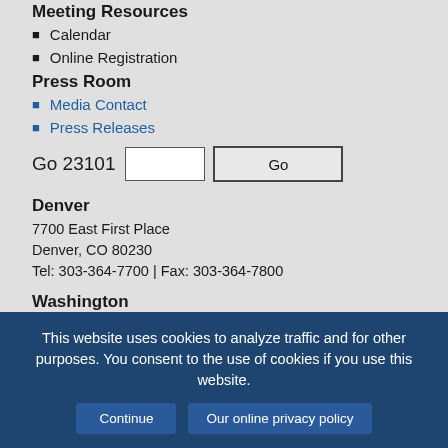Meeting Resources
Calendar
Online Registration
Press Room
Media Contact
Press Releases
Go 23101 [input] [Go button]
Denver
7700 East First Place
Denver, CO 80230
Tel: 303-364-7700 | Fax: 303-364-7800
Washington
444 North Capitol Street, N.W., Suite 515
Washington, D.C. 20001
This website uses cookies to analyze traffic and for other purposes. You consent to the use of cookies if you use this website.